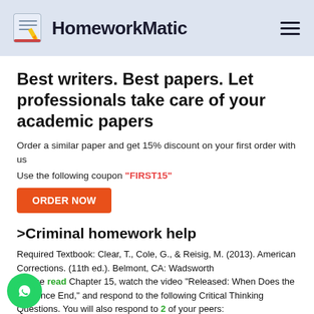[Figure (logo): HomeworkMatic logo with book and pencil icon]
Best writers. Best papers. Let professionals take care of your academic papers
Order a similar paper and get 15% discount on your first order with us
Use the following coupon "FIRST15"
ORDER NOW
>Criminal homework help
Required Textbook: Clear, T., Cole, G., & Reisig, M. (2013). American Corrections. (11th ed.). Belmont, CA: Wadsworth
Please read Chapter 15, watch the video "Released: When Does the Sentence End," and respond to the following Critical Thinking Questions. You will also respond to 2 of your peers: